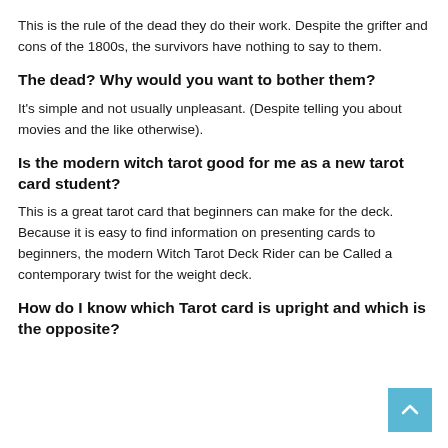This is the rule of the dead they do their work. Despite the grifter and cons of the 1800s, the survivors have nothing to say to them.
The dead? Why would you want to bother them?
It's simple and not usually unpleasant. (Despite telling you about movies and the like otherwise).
Is the modern witch tarot good for me as a new tarot card student?
This is a great tarot card that beginners can make for the deck. Because it is easy to find information on presenting cards to beginners, the modern Witch Tarot Deck Rider can be Called a contemporary twist for the weight deck.
How do I know which Tarot card is upright and which is the opposite?